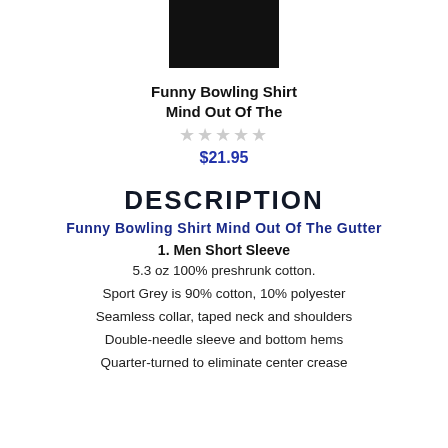[Figure (photo): Black product image of a bowling shirt (cropped, top portion visible)]
Funny Bowling Shirt Mind Out Of The
★★★★★ (empty stars rating)
$21.95
DESCRIPTION
Funny Bowling Shirt Mind Out Of The Gutter
1. Men Short Sleeve
5.3 oz 100% preshrunk cotton.
Sport Grey is 90% cotton, 10% polyester
Seamless collar, taped neck and shoulders
Double-needle sleeve and bottom hems
Quarter-turned to eliminate center crease